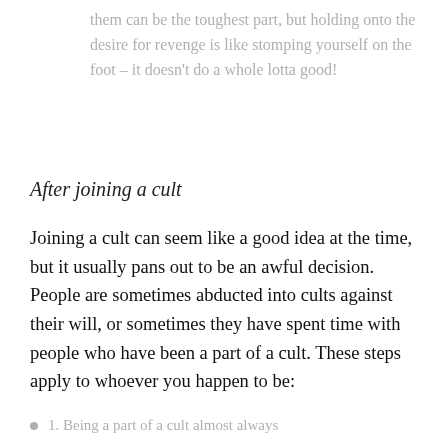them can be the toughest part, but holding onto the desire for revenge is like stomping yourself on the foot – it doesn't do a whole lotta good!
After joining a cult
Joining a cult can seem like a good idea at the time, but it usually pans out to be an awful decision. People are sometimes abducted into cults against their will, or sometimes they have spent time with people who have been a part of a cult. These steps apply to whoever you happen to be:
1. Being a part of a cult almost always